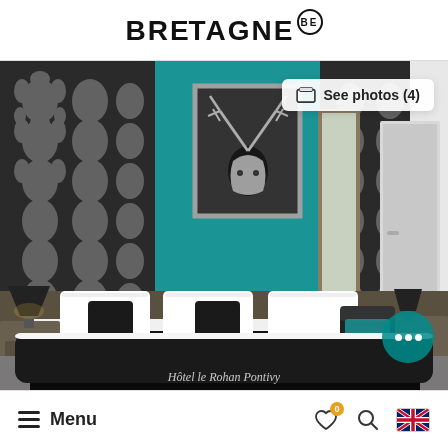BRETAGNE BE
[Figure (photo): Hotel room with teal/turquoise accent wall, black and white damask wallpaper panels, large bed with white pillows and black decorative cushions, black and white striped bedspread, bedside lamps, framed deer artwork on wall, mirror, armchair with teal cushion, and white door. Watermark reading 'Hôtel le Rohan Pontivy' at bottom. A 'See photos (4)' button is overlaid in top-right corner.]
Menu  [heart icon] [search icon] [UK flag]